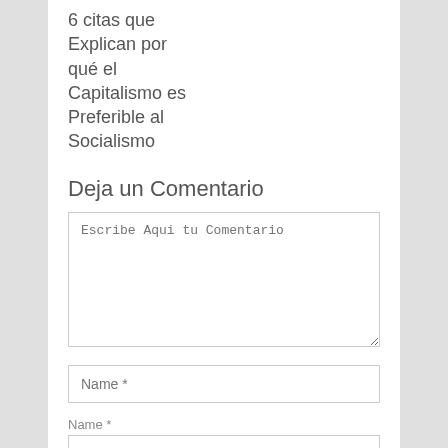6 citas que Explican por qué el Capitalismo es Preferible al Socialismo
Deja un Comentario
Escribe Aqui tu Comentario
Name *
Name *
Email *
Email *